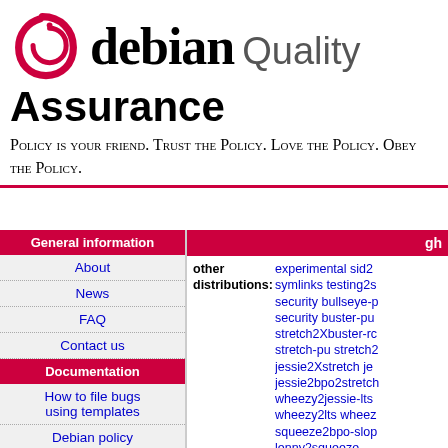[Figure (logo): Debian swirl logo in red]
debian Quality Assurance
Policy is your friend. Trust the Policy. Love the Policy. Obey the Policy.
General information
About
News
FAQ
Contact us
Documentation
How to file bugs using templates
Debian policy
piuparts.d.o configuration:
gh
other distributions: experimental sid2... symlinks testing2s... security bullseye-p... security buster-pu... stretch2Xbuster-rc... stretch-pu stretch2... jessie2Xstretch je... jessie2bpo2stretch... wheezy2jessie-lts... wheezy2lts wheez... squeeze2bpo-slop... lenny2squeeze
fail: 0